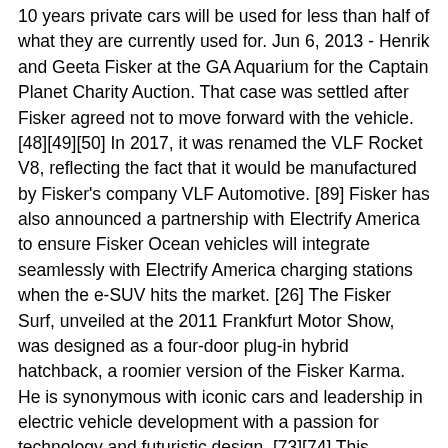10 years private cars will be used for less than half of what they are currently used for. Jun 6, 2013 - Henrik and Geeta Fisker at the GA Aquarium for the Captain Planet Charity Auction. That case was settled after Fisker agreed not to move forward with the vehicle. [48][49][50] In 2017, it was renamed the VLF Rocket V8, reflecting the fact that it would be manufactured by Fisker's company VLF Automotive. [89] Fisker has also announced a partnership with Electrify America to ensure Fisker Ocean vehicles will integrate seamlessly with Electrify America charging stations when the e-SUV hits the market. [26] The Fisker Surf, unveiled at the 2011 Frankfurt Motor Show, was designed as a four-door plug-in hybrid hatchback, a roomier version of the Fisker Karma. He is synonymous with iconic cars and leadership in electric vehicle development with a passion for technology and futuristic design. [73][74] This planned production of the Ocean is a change of plans from originally producing the EMotion first, now the Ocean replacing the EMotions planned production time, where Fisker cites the reason as consumer interest in the SUV